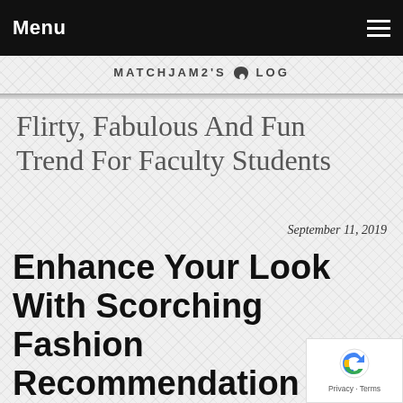Menu
MATCHJAM2'S BLOG
Flirty, Fabulous And Fun Trend For Faculty Students
September 11, 2019
Enhance Your Look With Scorching Fashion Recommendation
[Figure (logo): reCAPTCHA badge with Privacy and Terms text]